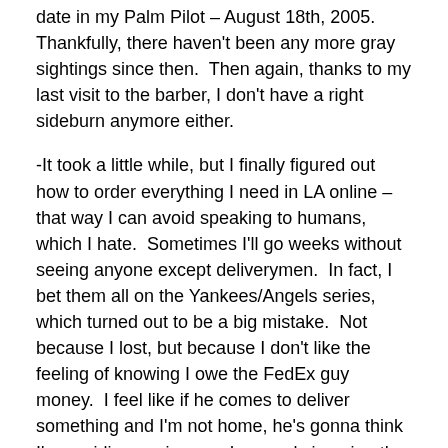date in my Palm Pilot – August 18th, 2005.  Thankfully, there haven't been any more gray sightings since then.  Then again, thanks to my last visit to the barber, I don't have a right sideburn anymore either.
-It took a little while, but I finally figured out how to order everything I need in LA online – that way I can avoid speaking to humans, which I hate.  Sometimes I'll go weeks without seeing anyone except deliverymen.  In fact, I bet them all on the Yankees/Angels series, which turned out to be a big mistake.  Not because I lost, but because I don't like the feeling of knowing I owe the FedEx guy money.  I feel like if he comes to deliver something and I'm not home, he's gonna think I'm avoiding paying up.  I can only imagine the day when I open up a package from drugstore.com and find a 12-pack of Charmin and a severed horse's head.